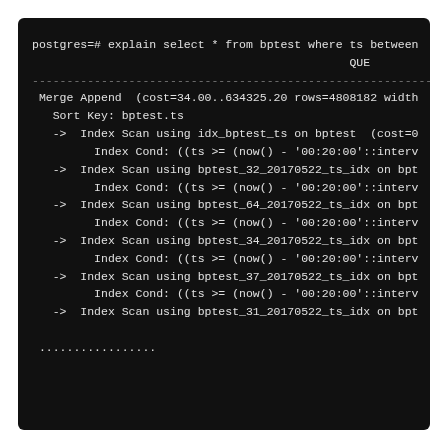[Figure (screenshot): Terminal/console output showing a PostgreSQL EXPLAIN output for a query on bptest table with ts BETWEEN clause, showing a Merge Append plan with multiple Index Scan nodes on partitioned tables (bptest, bptest_32_20170522, bptest_64_20170522, bptest_34_20170522, bptest_37_20170522, bptest_31_20170522), each with Index Cond checking ts >= (now() - '00:20:00'::interval), truncated at the right edge and ending with ellipsis dots.]